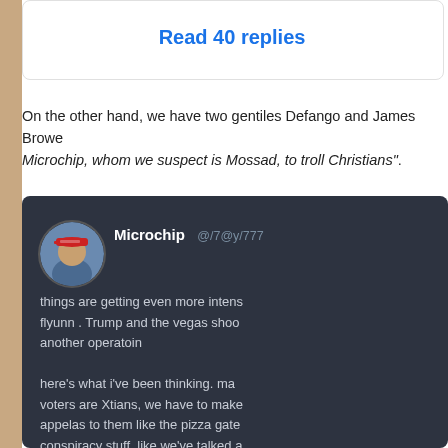Read 40 replies
On the other hand, we have two gentiles Defango and James Browe Microchip, whom we suspect is Mossad, to troll Christians".
[Figure (screenshot): Screenshot of a dark-themed social media post by user 'Microchip' with a profile picture of a person in a red cap. The post text reads: 'things are getting even more intens flyunn . Trump and the vegas shoo another operatoin here's what i've been thinking. ma voters are Xtians, we have to make appelas to them like the pizza gate conspiracy stuff, like we've talked a 2016. there's a way to do this, if we somethign new on that leve3l, we v hours. let's put our headds down']